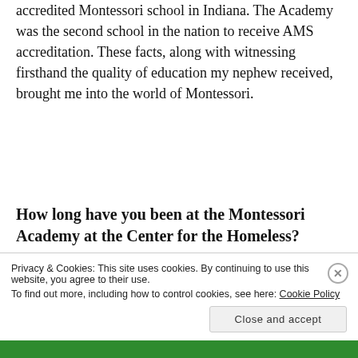accredited Montessori school in Indiana. The Academy was the second school in the nation to receive AMS accreditation. These facts, along with witnessing firsthand the quality of education my nephew received, brought me into the world of Montessori.
How long have you been at the Montessori Academy at the Center for the Homeless?
Privacy & Cookies: This site uses cookies. By continuing to use this website, you agree to their use. To find out more, including how to control cookies, see here: Cookie Policy